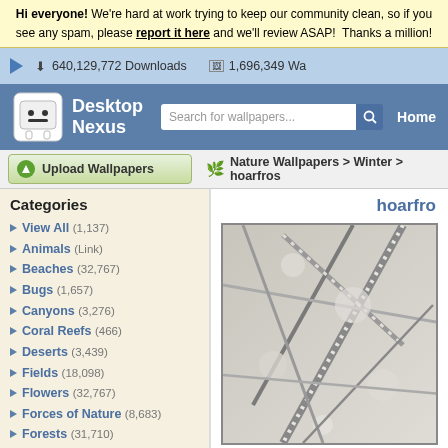Hi everyone! We're hard at work trying to keep our community clean, so if you see any spam, please report it here and we'll review ASAP! Thanks a million!
640,129,772 Downloads  1,696,349 Wa...
[Figure (logo): Desktop Nexus logo with white robot face icon and site name]
Search for wallpapers...  Home
Upload Wallpapers
Nature Wallpapers > Winter > hoarfros...
Categories
View All (1,137)
Animals (Link)
Beaches (32,767)
Bugs (1,657)
Canyons (3,276)
Coral Reefs (466)
Deserts (3,439)
Fields (18,098)
Flowers (32,767)
Forces of Nature (8,683)
Forests (31,710)
Grass (3,796)
Greenroofs (318)
Lakes (32,767)
Mountains (32,767)
hoarfro...
[Figure (photo): Black and white photo of snow/hoarfrost covered tree branches]